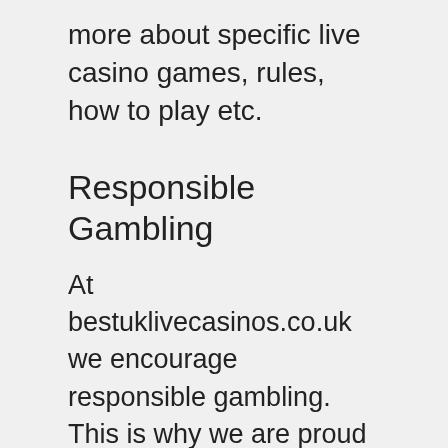more about specific live casino games, rules, how to play etc.
Responsible Gambling
At bestuklivecasinos.co.uk we encourage responsible gambling. This is why we are proud to have been one of the first gambling reviews sites that have published a responsible gambling page with information about ways to protect yourself and how to get help if you are facing any gambling problems. We strongly believe that gambling should be enjoyed responsibly and purely for entertainment. If gambling gets out of control then it’s not fun anymore and we encourage Time Outs -Daily, Weekly, Monthly Deposit Limits -Stake Limits -